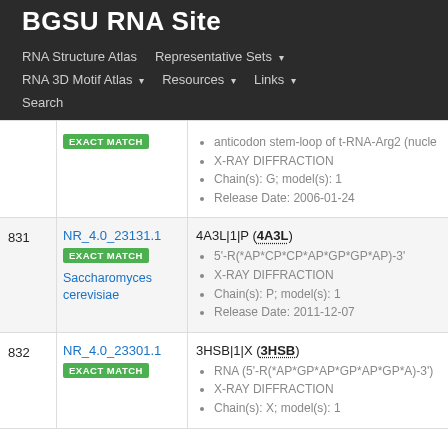BGSU RNA Site
RNA Structure Atlas | Representative Sets ▾ | RNA 3D Motif Atlas ▾ | Resources ▾ | Links ▾ | Search
| # | NR ID / Match | Structure Info |
| --- | --- | --- |
|  | EXACT MATCH | anticodon stem-loop of t-RNA-Arg2 (nucle…
X-RAY DIFFRACTION
Chain(s): G; model(s): 1
Release Date: 2006-01-24 |
| 831 | NR_4.0_23131.1
EXACT MATCH
Saccharomyces cerevisiae | 4A3L|1|P (4A3L)
5'-R(*AP*CP*CP*AP*GP*GP*AP)-3'
X-RAY DIFFRACTION
Chain(s): P; model(s): 1
Release Date: 2011-12-07 |
| 832 | NR_4.0_23301.1
EXACT MATCH | 3HSB|1|X (3HSB)
RNA (5'-R(*AP*GP*AP*GP*AP*GP*A)-3')
X-RAY DIFFRACTION
Chain(s): X; model(s): 1 |